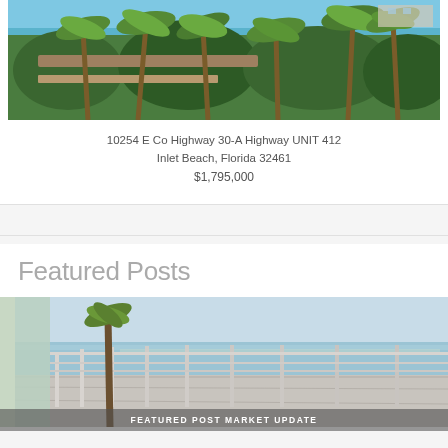[Figure (photo): Aerial or elevated view of a beachside property with palm trees, boardwalks, and lush tropical vegetation with ocean visible in background]
10254 E Co Highway 30-A Highway UNIT 412
Inlet Beach, Florida 32461
$1,795,000
Featured Posts
[Figure (photo): Beachfront balcony view with white railings overlooking turquoise Gulf waters, palm trees visible to the left]
FEATURED POST MARKET UPDATE